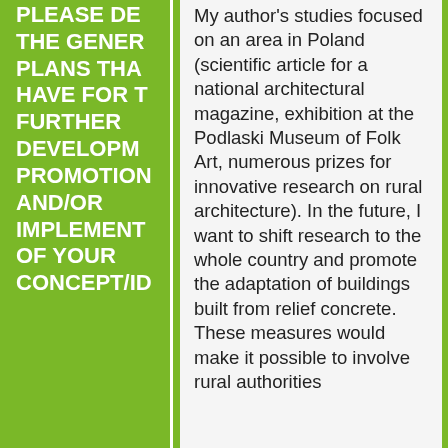PLEASE DESCRIBE THE GENERAL PLANS THAT HAVE FOR THE FURTHER DEVELOPMENT PROMOTION AND/OR IMPLEMENTATION OF YOUR CONCEPT/ID
My author's studies focused on an area in Poland (scientific article for a national architectural magazine, exhibition at the Podlaski Museum of Folk Art, numerous prizes for innovative research on rural architecture). In the future, I want to shift research to the whole country and promote the adaptation of buildings built from relief concrete. These measures would make it possible to involve rural authorities